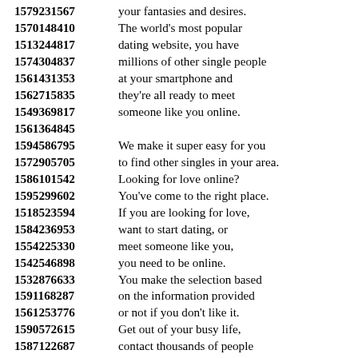1579231567 your fantasies and desires.
1570148410 The world’s most popular
1513244817 dating website, you have
1574304837 millions of other single people
1561431353 at your smartphone and
1562715835 they’re all ready to meet
1549369817 someone like you online.
1561364845
1594586795 We make it super easy for you
1572905705 to find other singles in your area.
1586101542 Looking for love online?
1595299602 You’ve come to the right place.
1518523594 If you are looking for love,
1584236953 want to start dating, or
1554225330 meet someone like you,
1542546898 you need to be online.
1532876633 You make the selection based
1591168287 on the information provided
1561253776 or not if you don't like it.
1590572615 Get out of your busy life,
1587122687 contact thousands of people
1518645270 who will bring more to
1576949777 your life especially after a
1535396796 busy time at the office.
1543160120